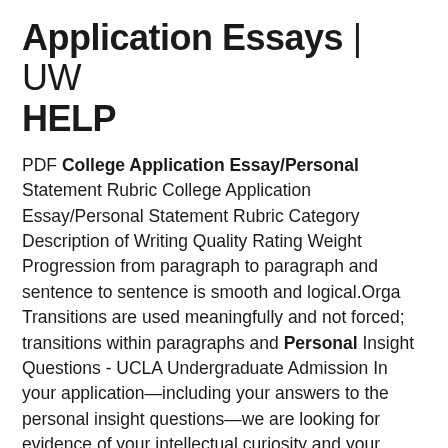Application Essays | UW HELP
PDF College Application Essay/Personal Statement Rubric College Application Essay/Personal Statement Rubric Category Description of Writing Quality Rating Weight Progression from paragraph to paragraph and sentence to sentence is smooth and logical.Orga Transitions are used meaningfully and not forced; transitions within paragraphs and Personal Insight Questions - UCLA Undergraduate Admission In your application—including your answers to the personal insight questions—we are looking for evidence of your intellectual curiosity and your interest in personal development. UCLA is a dynamic and exciting place—due largely to our creative, ambitious, and diverse student body. College Admissions Essay Topics to Avoid | Fastweb Colleges College Admissions Essay Topics to Avoid What's most curious about the college essay is that many of the topics